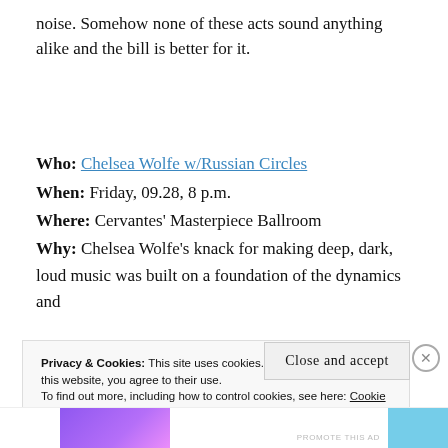noise. Somehow none of these acts sound anything alike and the bill is better for it.
Who: Chelsea Wolfe w/Russian Circles
When: Friday, 09.28, 8 p.m.
Where: Cervantes’ Masterpiece Ballroom
Why: Chelsea Wolfe’s knack for making deep, dark, loud music was built on a foundation of the dynamics and
Privacy & Cookies: This site uses cookies. By continuing to use this website, you agree to their use.
To find out more, including how to control cookies, see here: Cookie Policy
Close and accept